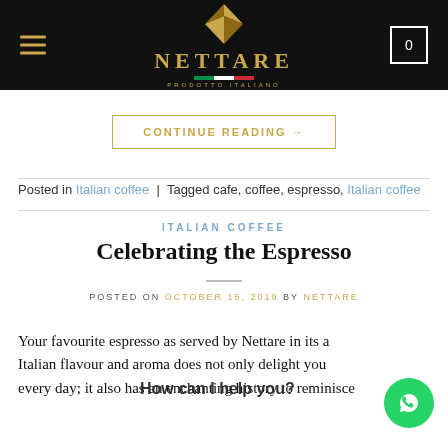NETTARE — PRODOTTO ITALIANO
CONTINUE READING →
Posted in Italian coffee | Tagged cafe, coffee, espresso, Italian coffee
ITALIAN COFFEE
Celebrating the Espresso
POSTED ON OCTOBER 15, 2019 BY NETTARE
Your favourite espresso as served by Nettare in its a Italian flavour and aroma does not only delight you every day; it also has an enchanting history to reminisce